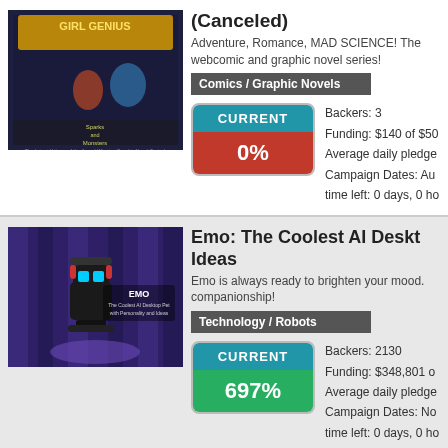[Figure (photo): Book cover for Sparks and Monsters graphic novel series]
(Canceled)
Adventure, Romance, MAD SCIENCE! The webcomic and graphic novel series!
Comics / Graphic Novels
CURRENT
0%
Backers: 3
Funding: $140 of $50
Average daily pledge
Campaign Dates: Au
time left: 0 days, 0 ho
[Figure (photo): Emo robot AI desktop pet product image]
Emo: The Coolest AI Deskt Ideas
Emo is always ready to brighten your mood. companionship!
Technology / Robots
CURRENT
697%
Backers: 2130
Funding: $348,801 o
Average daily pledge
Campaign Dates: No
time left: 0 days, 0 ho